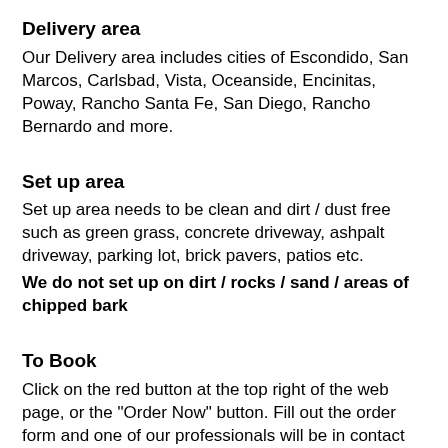Delivery area
Our Delivery area includes cities of Escondido, San Marcos, Carlsbad, Vista, Oceanside, Encinitas, Poway, Rancho Santa Fe, San Diego, Rancho Bernardo and more.
Set up area
Set up area needs to be clean and dirt / dust free such as green grass, concrete driveway, ashpalt driveway, parking lot, brick pavers, patios etc.
We do not set up on dirt / rocks / sand / areas of chipped bark
To Book
Click on the red button at the top right of the web page, or the "Order Now" button. Fill out the order form and one of our professionals will be in contact with you. A credit card is required for all reservations.